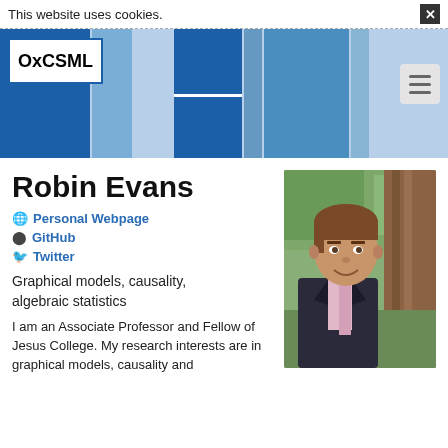This website uses cookies.
[Figure (screenshot): OxCSML website header with blue mosaic tile design and hamburger menu icon]
Robin Evans
Personal Webpage
GitHub
Twitter
[Figure (photo): Photo of Robin Evans, a young man in a dark suit and pink tie, outdoors with trees in background]
Graphical models, causality, algebraic statistics
I am an Associate Professor and Fellow of Jesus College. My research interests are in graphical models, causality and